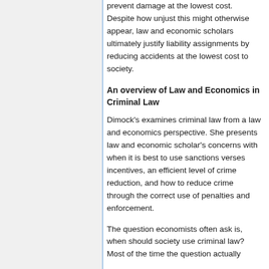prevent damage at the lowest cost. Despite how unjust this might otherwise appear, law and economic scholars ultimately justify liability assignments by reducing accidents at the lowest cost to society.
An overview of Law and Economics in Criminal Law
Dimock's examines criminal law from a law and economics perspective. She presents law and economic scholar's concerns with when it is best to use sanctions verses incentives, an efficient level of crime reduction, and how to reduce crime through the correct use of penalties and enforcement.
The question economists often ask is, when should society use criminal law? Most of the time the question actually